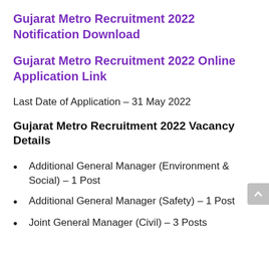Gujarat Metro Recruitment 2022 Notification Download
Gujarat Metro Recruitment 2022 Online Application Link
Last Date of Application – 31 May 2022
Gujarat Metro Recruitment 2022 Vacancy Details
Additional General Manager (Environment & Social) – 1 Post
Additional General Manager (Safety) – 1 Post
Joint General Manager (Civil) – 3 Posts